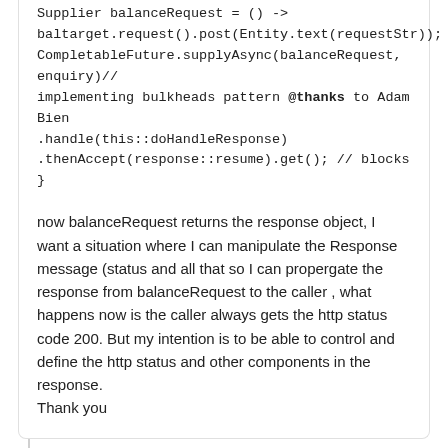Supplier balanceRequest = () -> baltarget.request().post(Entity.text(requestStr));
CompletableFuture.supplyAsync(balanceRequest, enquiry)//implementing bulkheads pattern @thanks to Adam Bien
.handle(this::doHandleResponse)
.thenAccept(response::resume).get(); // blocks
}
now balanceRequest returns the response object, I want a situation where I can manipulate the Response message (status and all that so I can propergate the response from balanceRequest to the caller , what happens now is the caller always gets the http status code 200. But my intention is to be able to control and define the http status and other components in the response.
Thank you
Nurudeen commented on Dec 5, 2017
Hi Adam